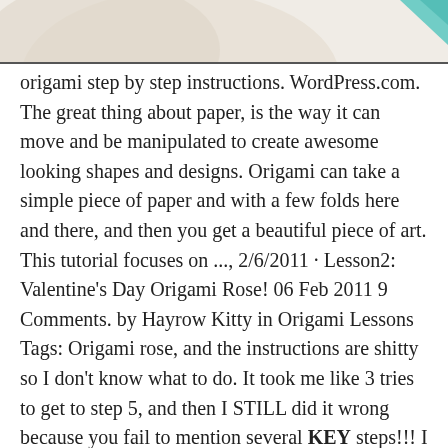[Figure (illustration): Partial view of an origami illustration showing decorative curved shapes in beige/cream tones with a teal/turquoise triangular accent visible at the top right.]
origami step by step instructions. WordPress.com. The great thing about paper, is the way it can move and be manipulated to create awesome looking shapes and designs. Origami can take a simple piece of paper and with a few folds here and there, and then you get a beautiful piece of art. This tutorial focuses on ..., 2/6/2011 · Lesson2: Valentine's Day Origami Rose! 06 Feb 2011 9 Comments. by Hayrow Kitty in Origami Lessons Tags: Origami rose, and the instructions are shitty so I don't know what to do. It took me like 3 tries to get to step 5, and then I STILL did it wrong because you fail to mention several KEY steps!!! I understood the Kawasaki rose...